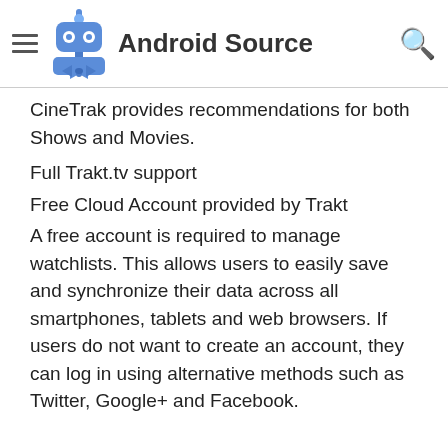Android Source
CineTrak provides recommendations for both Shows and Movies.
Full Trakt.tv support
Free Cloud Account provided by Trakt
A free account is required to manage watchlists. This allows users to easily save and synchronize their data across all smartphones, tablets and web browsers. If users do not want to create an account, they can log in using alternative methods such as Twitter, Google+ and Facebook.